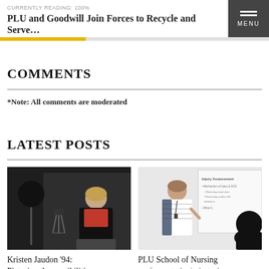CURRENTLY READING: 100%
PLU and Goodwill Join Forces to Recycle and Serve...
COMMENTS
*Note: All comments are moderated
LATEST POSTS
[Figure (photo): Woman in red top seated in a dark studio setting with photography equipment]
Kristen Jaudon '94: Picturing the possibilities
[Figure (photo): Woman in striped shirt presenting next to a whiteboard with 'Injury Assessment' written on it, with a person in silhouette in foreground]
PLU School of Nursing professor to be inducted as